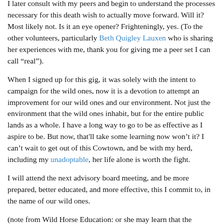I later consult with my peers and begin to understand the processes necessary for this death wish to actually move forward. Will it? Most likely not. Is it an eye opener? Frighteningly, yes. (To the other volunteers, particularly Beth Quigley Lauxen who is sharing her experiences with me, thank you for giving me a peer set I can call “real”).
When I signed up for this gig, it was solely with the intent to campaign for the wild ones, now it is a devotion to attempt an improvement for our wild ones and our environment. Not just the environment that the wild ones inhabit, but for the entire public lands as a whole. I have a long way to go to be as effective as I aspire to be. But now, that'll take some learning now won't it? I can't wait to get out of this Cowtown, and be with my herd, including my unadoptable, her life alone is worth the fight.
I will attend the next advisory board meeting, and be more prepared, better educated, and more effective, this I commit to, in the name of our wild ones.
(note from Wild Horse Education: or she may learn that the Advisory